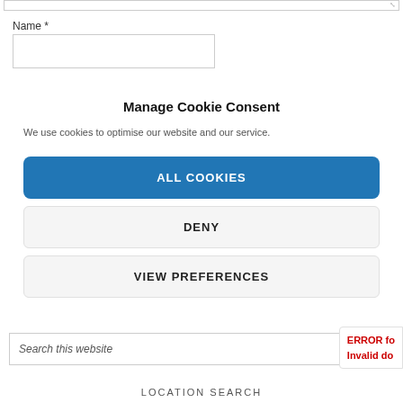Name *
Manage Cookie Consent
We use cookies to optimise our website and our service.
ALL COOKIES
DENY
VIEW PREFERENCES
Search this website
ERROR fo
Invalid do
LOCATION SEARCH